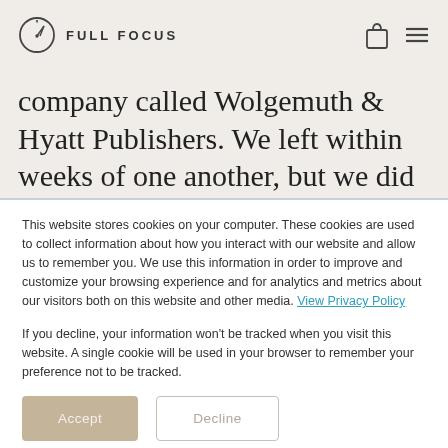FULL FOCUS
company called Wolgemuth & Hyatt Publishers. We left within weeks of one another, but we did not discuss going into business prior to our departure.
This website stores cookies on your computer. These cookies are used to collect information about how you interact with our website and allow us to remember you. We use this information in order to improve and customize your browsing experience and for analytics and metrics about our visitors both on this website and other media. View Privacy Policy

If you decline, your information won't be tracked when you visit this website. A single cookie will be used in your browser to remember your preference not to be tracked.